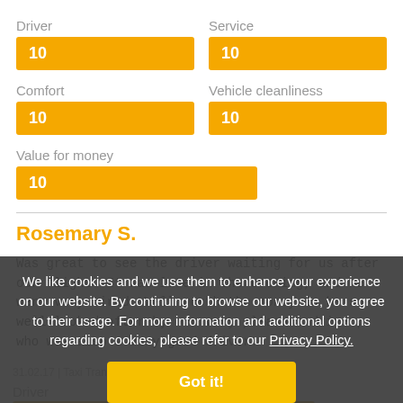Driver
10
Service
10
Comfort
10
Vehicle cleanliness
10
Value for money
10
Rosemary S.
Was great to see the driver waiting for us after our flight. It was late in the evening, and we were very tired. Well worth the money to be so well looked after by our very pleasant driver, who was also a very good driver.
31.02.17 | Taxi Transfer From Munich Airport to Munich...
Driver
10
Service
10
Comfort
10
We like cookies and we use them to enhance your experience on our website. By continuing to browse our website, you agree to their usage. For more information and additional options regarding cookies, please refer to our Privacy Policy.
Got it!